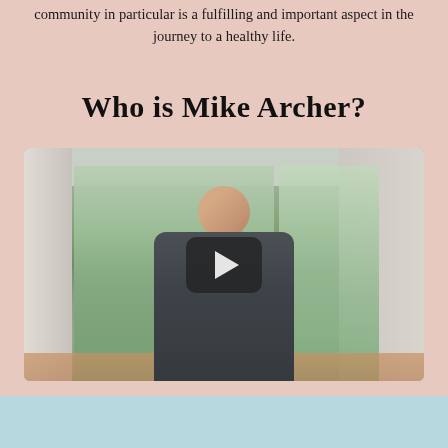community in particular is a fulfilling and important aspect in the journey to a healthy life.
Who is Mike Archer?
[Figure (photo): A man (Mike Archer) standing indoors in what appears to be a sunroom or porch area with glass sliding doors and greenery visible outside. He is bald, wearing a dark polo shirt. A video play button overlay is centered on the image.]